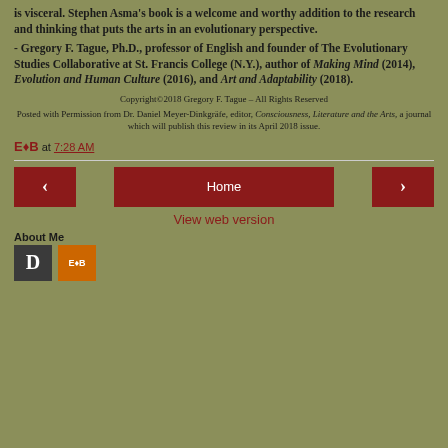is visceral. Stephen Asma's book is a welcome and worthy addition to the research and thinking that puts the arts in an evolutionary perspective.
- Gregory F. Tague, Ph.D., professor of English and founder of The Evolutionary Studies Collaborative at St. Francis College (N.Y.), author of Making Mind (2014), Evolution and Human Culture (2016), and Art and Adaptability (2018).
Copyright©2018 Gregory F. Tague – All Rights Reserved
Posted with Permission from Dr. Daniel Meyer-Dinkgräfe, editor, Consciousness, Literature and the Arts, a journal which will publish this review in its April 2018 issue.
E♦B at 7:28 AM
Home
View web version
About Me